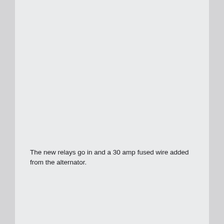The new relays go in and a 30 amp fused wire added from the alternator.